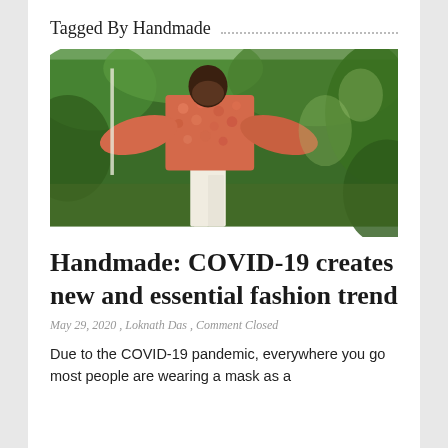Tagged By Handmade
[Figure (photo): Person wearing a coral/orange patterned loose top and white pants, standing outdoors in a green garden/wooded area]
Handmade: COVID-19 creates new and essential fashion trend
May 29, 2020 , Loknath Das , Comment Closed
Due to the COVID-19 pandemic, everywhere you go most people are wearing a mask as a